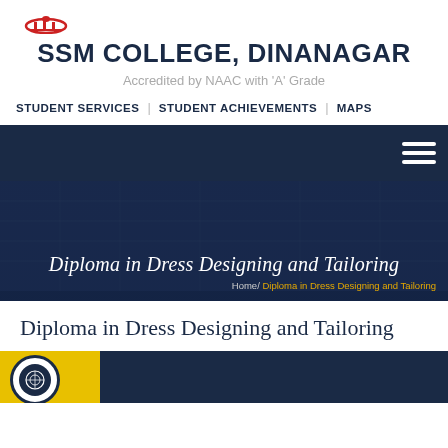[Figure (logo): SSM College logo/emblem in red, small arc shape]
SSM COLLEGE, DINANAGAR
Accredited by NAAC with 'A' Grade
STUDENT SERVICES | STUDENT ACHIEVEMENTS | MAPS
[Figure (screenshot): Dark navy navigation bar with hamburger menu icon on right]
[Figure (infographic): Dark navy hero banner with overlaid building image]
Diploma in Dress Designing and Tailoring
Home/ Diploma in Dress Designing and Tailoring
Diploma in Dress Designing and Tailoring
[Figure (photo): College banner image with circular emblem logo on yellow and blue background]